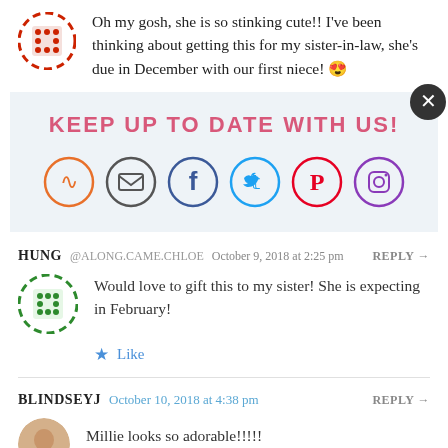Oh my gosh, she is so stinking cute!! I've been thinking about getting this for my sister-in-law, she's due in December with our first niece! 😍
[Figure (infographic): Newsletter subscription banner with text 'KEEP UP TO DATE WITH US!' and six social media icons: RSS, Email, Facebook, Twitter, Pinterest, Instagram]
HUNG @ALONG.CAME.CHLOE  October 9, 2018 at 2:25 pm  REPLY →
Would love to gift this to my sister! She is expecting in February!
★ Like
BLINDSEYJ  October 10, 2018 at 4:38 pm  REPLY →
Millie looks so adorable!!!!!